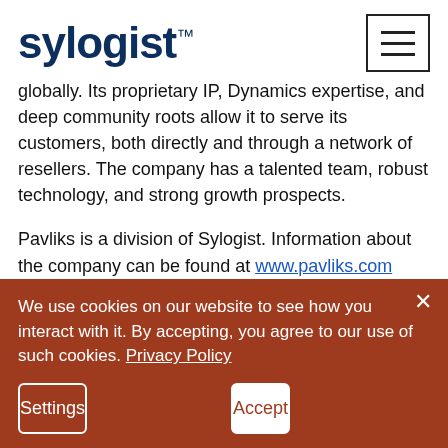sylogist™
globally. Its proprietary IP, Dynamics expertise, and deep community roots allow it to serve its customers, both directly and through a network of resellers. The company has a talented team, robust technology, and strong growth prospects.
Pavliks is a division of Sylogist. Information about the company can be found at www.pavliks.com
We use cookies on our website to see how you interact with it. By accepting, you agree to our use of such cookies. Privacy Policy
Settings
Accept